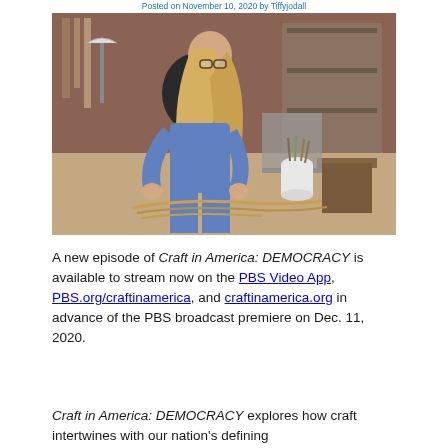Posted on November 10, 2020 by Tiffyjodall
[Figure (photo): A young woman with long blonde hair and glasses, wearing denim overalls over a black t-shirt, sits on the floor of a craft workshop with brick walls and wooden shelving. She is working with straw/reed materials, braiding or weaving a broom. Tools, brooms, and wooden furniture are visible in the background.]
A new episode of Craft in America: DEMOCRACY is available to stream now on the PBS Video App, PBS.org/craftinamerica, and craftinamerica.org in advance of the PBS broadcast premiere on Dec. 11, 2020.
Craft in America: DEMOCRACY explores how craft intertwines with our nation's defining